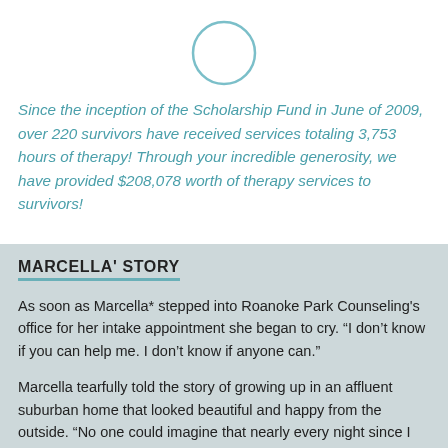[Figure (illustration): A light teal/blue outlined circle (empty interior), centered near the top of the page]
Since the inception of the Scholarship Fund in June of 2009, over 220 survivors have received services totaling 3,753 hours of therapy! Through your incredible generosity, we have provided $208,078 worth of therapy services to survivors!
MARCELLA' STORY
As soon as Marcella* stepped into Roanoke Park Counseling's office for her intake appointment she began to cry. “I don’t know if you can help me. I don’t know if anyone can.”
Marcella tearfully told the story of growing up in an affluent suburban home that looked beautiful and happy from the outside. “No one could imagine that nearly every night since I turned 13